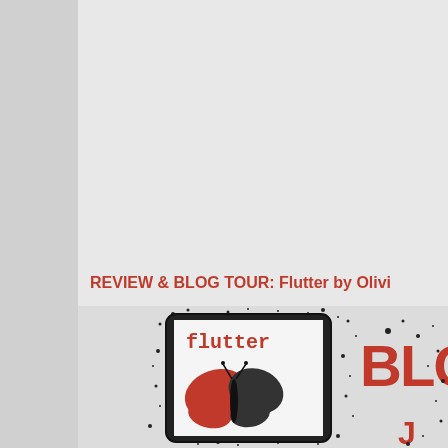REVIEW & BLOG TOUR: Flutter by Olivi
[Figure (illustration): Book cover image for 'Flutter' showing a tablet device with a butterfly on the cover, black ink splatter background, text 'flutter' in red typewriter font, 'BLO' visible in large red letters to the right, and partial author name below.]